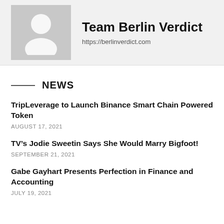[Figure (illustration): Grey avatar placeholder icon showing a generic person silhouette on a light grey background]
Team Berlin Verdict
https://berlinverdict.com
NEWS
TripLeverage to Launch Binance Smart Chain Powered Token
AUGUST 17, 2021
TV’s Jodie Sweetin Says She Would Marry Bigfoot!
SEPTEMBER 21, 2021
Gabe Gayhart Presents Perfection in Finance and Accounting
JULY 19, 2021